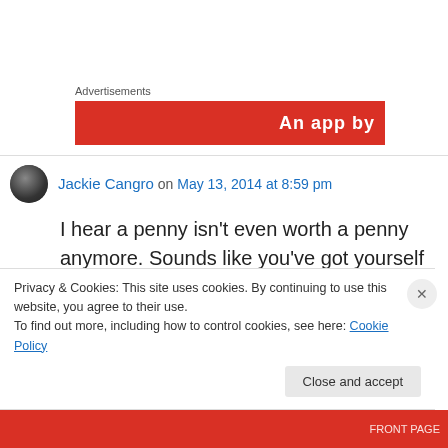Advertisements
[Figure (other): Red advertisement banner with white text 'An app by']
Jackie Cangro on May 13, 2014 at 8:59 pm
I hear a penny isn't even worth a penny anymore. Sounds like you've got yourself quite a deal there. If you hold onto it for another hundred years maybe you'll be able to double the value
Privacy & Cookies: This site uses cookies. By continuing to use this website, you agree to their use.
To find out more, including how to control cookies, see here: Cookie Policy
Close and accept